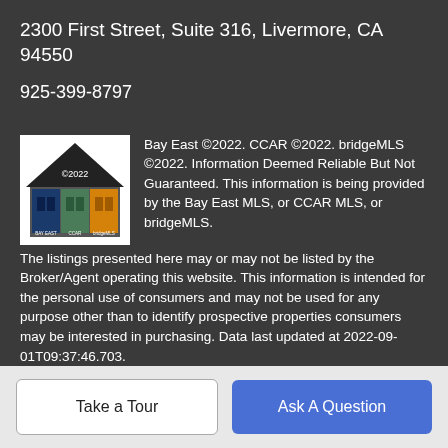2300 First Street, Suite 316, Livermore, CA 94550
925-399-8797
[Figure (logo): Bay East, CCAR, bridgeMLS 2022 copyright logo showing a house silhouette with three colored bars (blue, green, orange) beneath representing the three MLS organizations]
Bay East ©2022. CCAR ©2022. bridgeMLS ©2022. Information Deemed Reliable But Not Guaranteed. This information is being provided by the Bay East MLS, or CCAR MLS, or bridgeMLS. The listings presented here may or may not be listed by the Broker/Agent operating this website. This information is intended for the personal use of consumers and may not be used for any purpose other than to identify prospective properties consumers may be interested in purchasing. Data last updated at 2022-09-01T09:37:46.703.
Take a Tour
Ask A Question